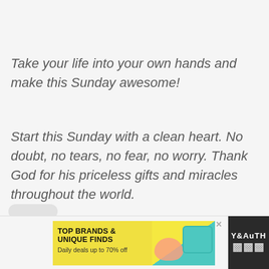Take your life into your own hands and make this Sunday awesome!
Start this Sunday with a clean heart. No doubt, no tears, no fear, no worry. Thank God for his priceless gifts and miracles throughout the world.
[Figure (other): Blurred profile picture / avatar area]
[Figure (other): Advertisement banner for Zulily: TOP BRANDS & UNIQUE FINDS, Daily deals up to 70% off, showing shoes and teal handbag images with Zulily logo, close/ad choice icons, and watermark logo on right]